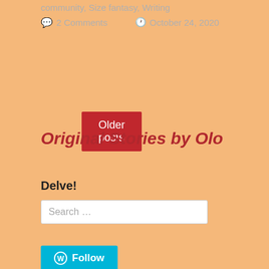community, Size fantasy, Writing
2 Comments   October 24, 2020
Older posts
Original Stories by Olo
Delve!
Search …
Follow